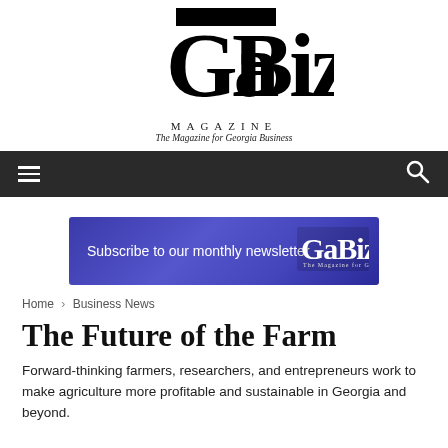[Figure (logo): GaBiz Magazine logo — large stylized 'GaBiz' letters in black, with 'MAGAZINE' beneath in spaced capitals and tagline 'The Magazine for Georgia Business']
[Figure (screenshot): Dark navigation bar with hamburger menu icon on left and search icon on right]
[Figure (infographic): Purple/blue newsletter subscription banner reading 'Subscribe to our monthly newsletter' with GaBiz logo on right]
Home › Business News
The Future of the Farm
Forward-thinking farmers, researchers, and entrepreneurs work to make agriculture more profitable and sustainable in Georgia and beyond.